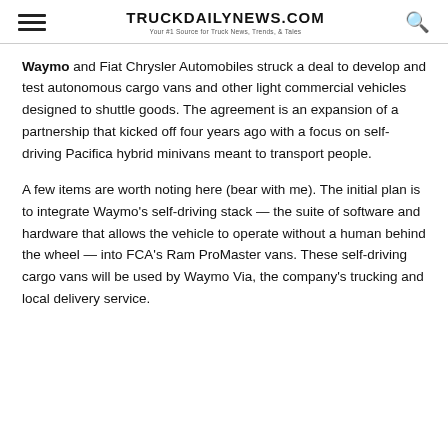TRUCKDAILYNEWS.COM — Your #1 Source for Truck News, Trends, & Tales
Waymo and Fiat Chrysler Automobiles struck a deal to develop and test autonomous cargo vans and other light commercial vehicles designed to shuttle goods. The agreement is an expansion of a partnership that kicked off four years ago with a focus on self-driving Pacifica hybrid minivans meant to transport people.
A few items are worth noting here (bear with me). The initial plan is to integrate Waymo's self-driving stack — the suite of software and hardware that allows the vehicle to operate without a human behind the wheel — into FCA's Ram ProMaster vans. These self-driving cargo vans will be used by Waymo Via, the company's trucking and local delivery service.